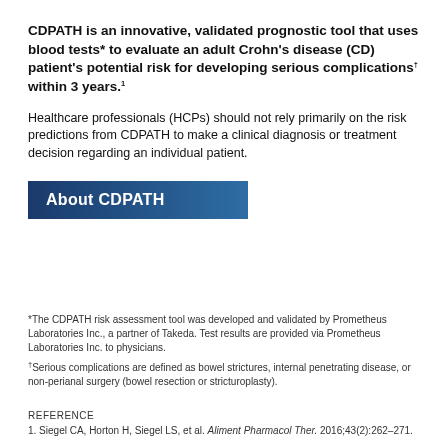CDPATH is an innovative, validated prognostic tool that uses blood tests* to evaluate an adult Crohn's disease (CD) patient's potential risk for developing serious complications† within 3 years.1
Healthcare professionals (HCPs) should not rely primarily on the risk predictions from CDPATH to make a clinical diagnosis or treatment decision regarding an individual patient.
About CDPATH
*The CDPATH risk assessment tool was developed and validated by Prometheus Laboratories Inc., a partner of Takeda. Test results are provided via Prometheus Laboratories Inc. to physicians.
†Serious complications are defined as bowel strictures, internal penetrating disease, or non-perianal surgery (bowel resection or stricturoplasty).
REFERENCE
1. Siegel CA, Horton H, Siegel LS, et al. Aliment Pharmacol Ther. 2016;43(2):262–271.